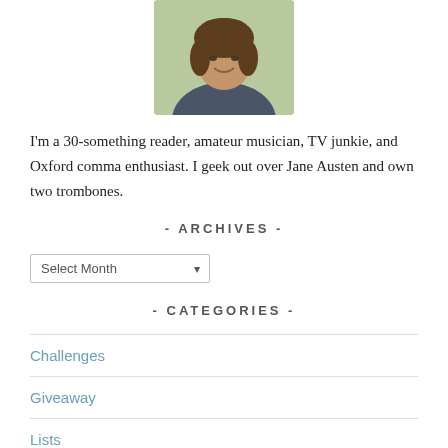[Figure (photo): Portrait photo of a smiling woman with curly brown hair wearing a dark jacket, outdoors.]
I'm a 30-something reader, amateur musician, TV junkie, and Oxford comma enthusiast. I geek out over Jane Austen and own two trombones.
- ARCHIVES -
[Figure (other): Select Month dropdown widget]
- CATEGORIES -
Challenges
Giveaway
Lists